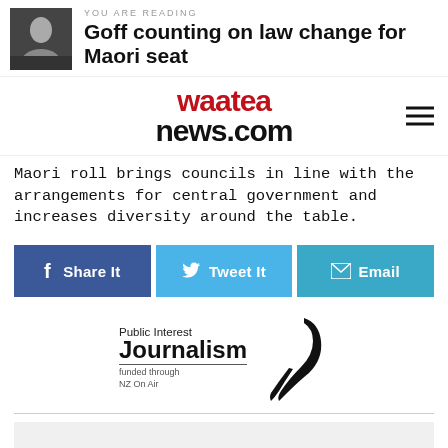YOU ARE READING
Goff counting on law change for Maori seat
[Figure (logo): Waatea News logo with red and black text reading 'waatea news.com']
Maori roll brings councils in line with the arrangements for central government and increases diversity around the table.
[Figure (infographic): Share buttons row: Facebook Share It, Twitter Tweet It, Email]
[Figure (logo): Public Interest Journalism funded through NZ On Air logo with feather quill graphic]